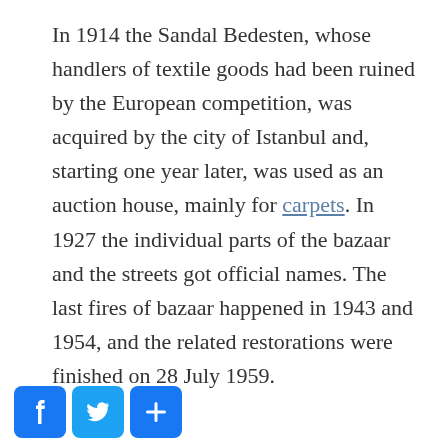In 1914 the Sandal Bedesten, whose handlers of textile goods had been ruined by the European competition, was acquired by the city of Istanbul and, starting one year later, was used as an auction house, mainly for carpets. In 1927 the individual parts of the bazaar and the streets got official names. The last fires of bazaar happened in 1943 and 1954, and the related restorations were finished on 28 July 1959.
[Figure (other): Social sharing buttons: Facebook (f), Twitter (bird), Share (+)]